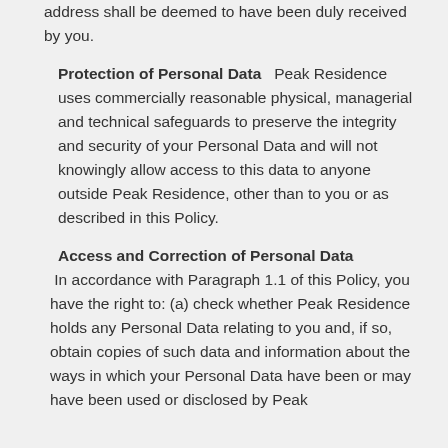address shall be deemed to have been duly received by you.
Protection of Personal Data
Peak Residence uses commercially reasonable physical, managerial and technical safeguards to preserve the integrity and security of your Personal Data and will not knowingly allow access to this data to anyone outside Peak Residence, other than to you or as described in this Policy.
Access and Correction of Personal Data
In accordance with Paragraph 1.1 of this Policy, you have the right to: (a) check whether Peak Residence holds any Personal Data relating to you and, if so, obtain copies of such data and information about the ways in which your Personal Data have been or may have been used or disclosed by Peak